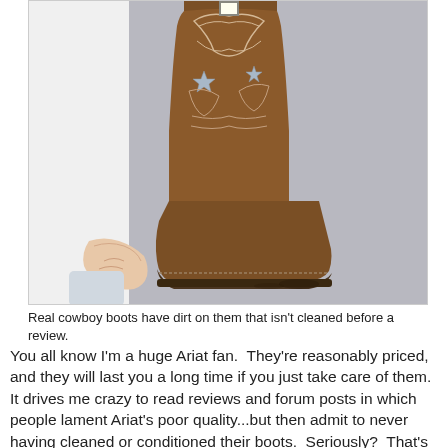[Figure (photo): A brown leather cowboy boot with decorative stitching and star embellishments on the shaft, shown from the side. A hand is holding the heel/sole area showing dirt on the bottom. The boot is placed on what appears to be a wooden surface against a gray background.]
Real cowboy boots have dirt on them that isn't cleaned before a review.
You all know I'm a huge Ariat fan.  They're reasonably priced, and they will last you a long time if you just take care of them.  It drives me crazy to read reviews and forum posts in which people lament Ariat's poor quality...but then admit to never having cleaned or conditioned their boots.  Seriously?  That's like complaining about your car's engine was poor quality because it broke down early, but you've never changed the oil!